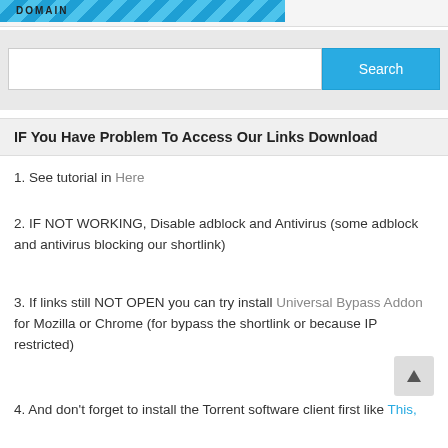DOMAIN
[Figure (screenshot): Search box with text input field and blue Search button on grey background]
IF You Have Problem To Access Our Links Download
1. See tutorial in Here
2. IF NOT WORKING, Disable adblock and Antivirus (some adblock and antivirus blocking our shortlink)
3. If links still NOT OPEN you can try install Universal Bypass Addon for Mozilla or Chrome (for bypass the shortlink or because IP restricted)
4. And don't forget to install the Torrent software client first like This,